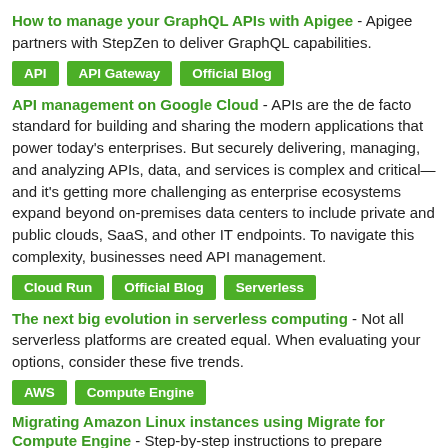How to manage your GraphQL APIs with Apigee - Apigee partners with StepZen to deliver GraphQL capabilities.
API
API Gateway
Official Blog
API management on Google Cloud - APIs are the de facto standard for building and sharing the modern applications that power today's enterprises. But securely delivering, managing, and analyzing APIs, data, and services is complex and critical—and it's getting more challenging as enterprise ecosystems expand beyond on-premises data centers to include private and public clouds, SaaS, and other IT endpoints. To navigate this complexity, businesses need API management.
Cloud Run
Official Blog
Serverless
The next big evolution in serverless computing - Not all serverless platforms are created equal. When evaluating your options, consider these five trends.
AWS
Compute Engine
Migrating Amazon Linux instances using Migrate for Compute Engine - Step-by-step instructions to prepare Amazon Linux